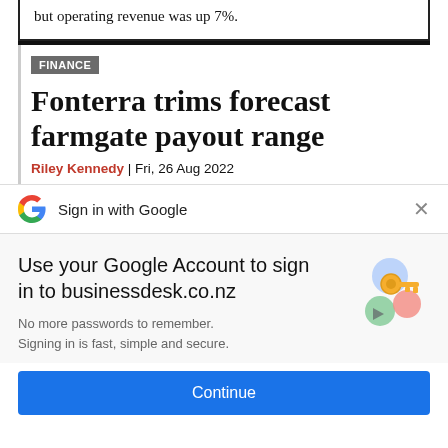but operating revenue was up 7%.
FINANCE
Fonterra trims forecast farmgate payout range
Riley Kennedy | Fri, 26 Aug 2022
Sign in with Google
Use your Google Account to sign in to businessdesk.co.nz
No more passwords to remember. Signing in is fast, simple and secure.
[Figure (illustration): Google account key and security icons illustration]
Continue